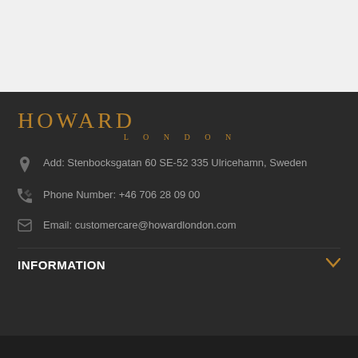[Figure (logo): Howard London brand logo in golden/bronze color with HOWARD in large letters and LONDON in spaced letters below]
Add: Stenbocksgatan 60 SE-52 335 Ulricehamn, Sweden
Phone Number: +46 706 28 09 00
Email: customercare@howardlondon.com
INFORMATION